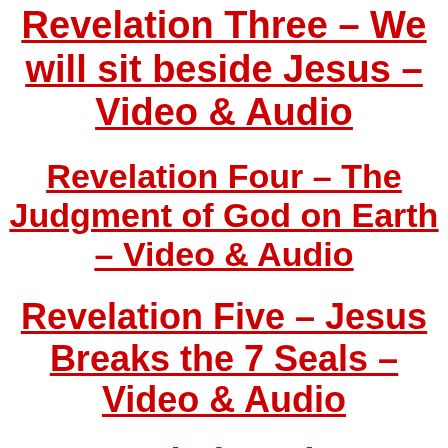Revelation Three – We will sit beside Jesus – Video & Audio
Revelation Four – The Judgment of God on Earth – Video & Audio
Revelation Five – Jesus Breaks the 7 Seals – Video & Audio
Revelation Six – Tribulation